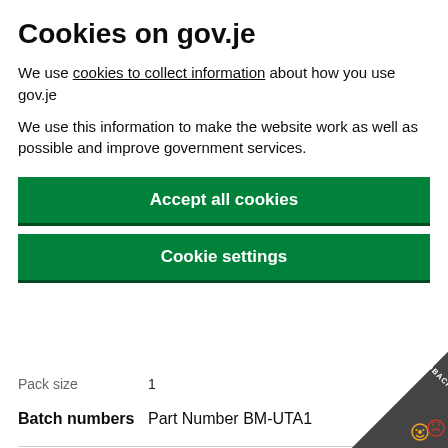Cookies on gov.je
We use cookies to collect information about how you use gov.je
We use this information to make the website work as well as possible and improve government services.
Accept all cookies
Cookie settings
Pack size    1
Batch numbers    Part Number BM-UTA1
Lamp display box (Sylvania) reca...